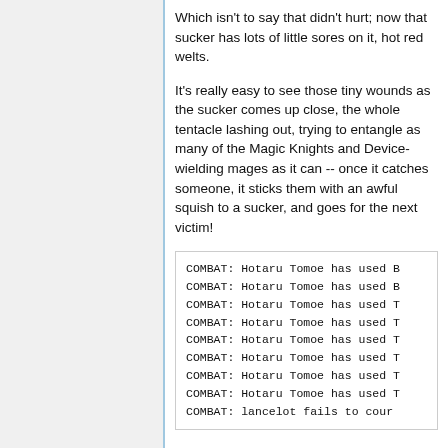Which isn't to say that didn't hurt; now that sucker has lots of little sores on it, hot red welts.
It's really easy to see those tiny wounds as the sucker comes up close, the whole tentacle lashing out, trying to entangle as many of the Magic Knights and Device-wielding mages as it can -- once it catches someone, it sticks them with an awful squish to a sucker, and goes for the next victim!
COMBAT: Hotaru Tomoe has used B
COMBAT: Hotaru Tomoe has used B
COMBAT: Hotaru Tomoe has used T
COMBAT: Hotaru Tomoe has used T
COMBAT: Hotaru Tomoe has used T
COMBAT: Hotaru Tomoe has used T
COMBAT: Hotaru Tomoe has used T
COMBAT: Hotaru Tomoe has used T
COMBAT: lancelot fails to cour